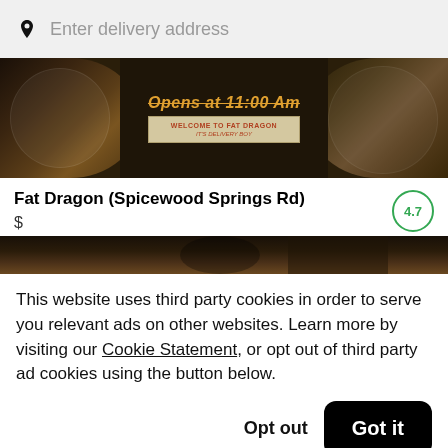Enter delivery address
[Figure (photo): Restaurant food photo showing dishes, with overlay text 'Opens at 11:00 Am' and a welcome sign]
Fat Dragon (Spicewood Springs Rd)
$
4.7
[Figure (photo): Partial food photo strip]
This website uses third party cookies in order to serve you relevant ads on other websites. Learn more by visiting our Cookie Statement, or opt out of third party ad cookies using the button below.
Opt out
Got it